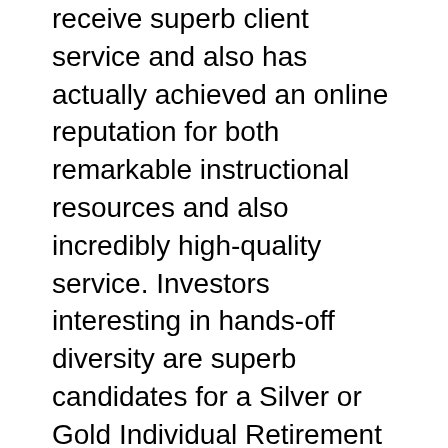receive superb client service and also has actually achieved an online reputation for both remarkable instructional resources and also incredibly high-quality service. Investors interesting in hands-off diversity are superb candidates for a Silver or Gold Individual Retirement Account.
Despite the restriction of this type of IRA to a single property class, financiers receive a possibility to buy precious metals as a bush for paper investments. This is various than purchasing funds, supplies or bonds because the demand to hang out performing market research to determine the most effective investments for a rare-earth elements IRA has actually been eliminated. The client merely chooses from a magazine including